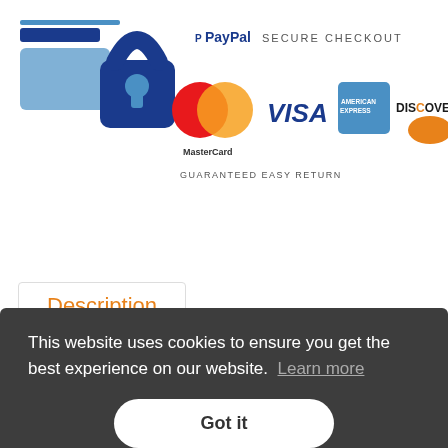[Figure (logo): Secure checkout banner with lock icon, PayPal logo, MasterCard, VISA, American Express, Discover logos, and 'GUARANTEED EASY RETURN' text]
Description
This website uses cookies to ensure you get the best experience on our website. Learn more
Got it
Activation
FAQ's